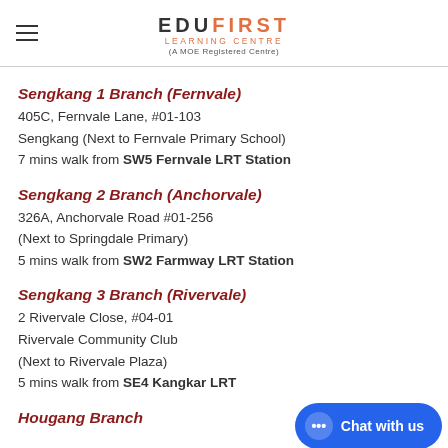EDU FIRST LEARNING CENTRE (A MOE Registered Centre)
Sengkang 1 Branch (Fernvale)
405C, Fernvale Lane, #01-103
Sengkang (Next to Fernvale Primary School)
7 mins walk from SW5 Fernvale LRT Station
Sengkang 2 Branch (Anchorvale)
326A, Anchorvale Road #01-256
(Next to Springdale Primary)
5 mins walk from SW2 Farmway LRT Station
Sengkang 3 Branch (Rivervale)
2 Rivervale Close, #04-01
Rivervale Community Club
(Next to Rivervale Plaza)
5 mins walk from SE4 Kangkar LRT
Hougang Branch